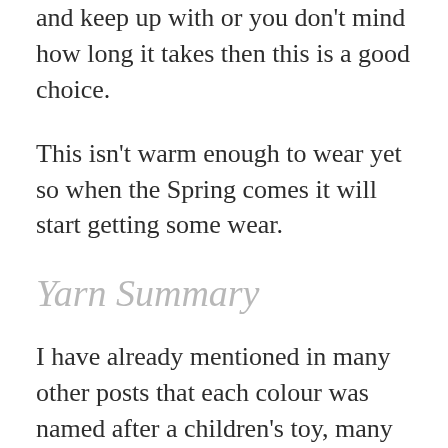and keep up with or you don't mind how long it takes then this is a good choice.
This isn't warm enough to wear yet so when the Spring comes it will start getting some wear.
Yarn Summary
I have already mentioned in many other posts that each colour was named after a children's toy, many of which I had so it was a lovely project to work on. I swapped out one of the colours that was too orange for my taste and added some leftover yarn from the same dyer